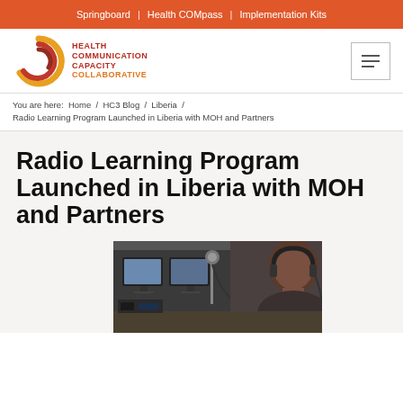Springboard | Health COMpass | Implementation Kits
[Figure (logo): Health Communication Capacity Collaborative logo with spiral H icon and orange/red text]
You are here: Home / HC3 Blog / Liberia / Radio Learning Program Launched in Liberia with MOH and Partners
Radio Learning Program Launched in Liberia with MOH and Partners
[Figure (photo): Person sitting at a radio broadcast desk with computer monitors and microphone equipment, wearing headphones]